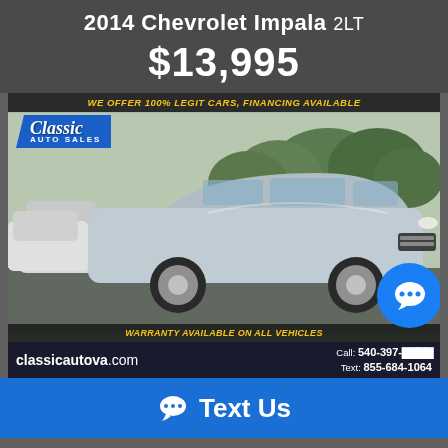2014 Chevrolet Impala 2LT
$13,995
[Figure (photo): Silver 2014 Chevrolet Impala 2LT parked in a dealership lot. Dealer ad with Classic Auto Sales logo, top banner reading 'WE OFFER 100% LEGIT CARS, FINANCING AVAILABLE', bottom banner reading 'WARRANTY AVAILABLE ON ALL VEHICLES', contact bar with classicautova.com, Call: 540-397-XXXX, Text: 855-684-1064. Blue chat bubble overlay on right side.]
Text Us